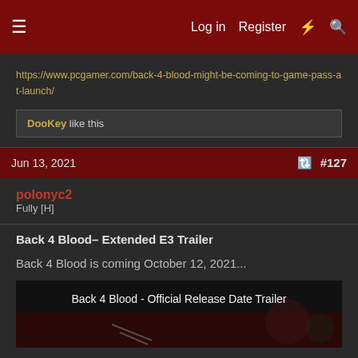Log in  Register  [icon] [icon]
https://www.pcgamer.com/back-4-blood-might-be-coming-to-game-pass-at-launch/
DooKey like this
Jun 13, 2021  #127
polonyc2
Fully [H]
Back 4 Blood– Extended E3 Trailer
Back 4 Blood is coming October 12, 2021...
[Figure (screenshot): Video thumbnail showing 'Back 4 Blood - Official Release Date Trailer' with dark background and game imagery]